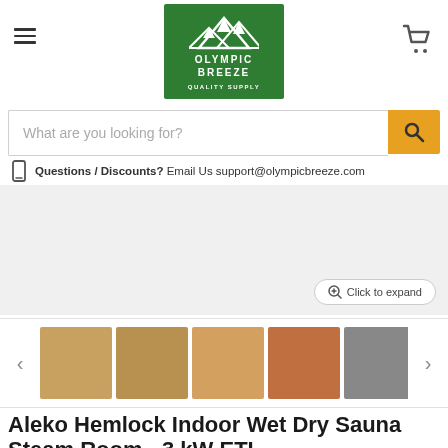[Figure (logo): Olympic Breeze Quality Supply logo - green square background with white mountain silhouette and text]
What are you looking for?
Questions / Discounts? Email Us support@olympicbreeze.com
[Figure (photo): Main product image area showing sauna room interior, light gray background with Click to expand button]
[Figure (photo): Thumbnail strip showing 5+ sauna product images including interior views, rocks, and heater]
Aleko Hemlock Indoor Wet Dry Sauna Steam Room - 3 kW ETL